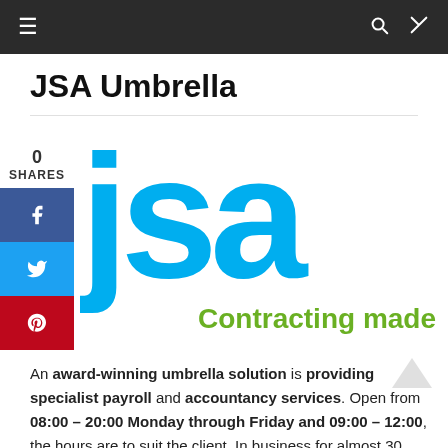≡  🔍  ⇄
JSA Umbrella
[Figure (logo): JSA logo in cyan/blue with 'jsa' lettering and tagline 'Contracting made simple' in green text]
An award-winning umbrella solution is providing specialist payroll and accountancy services. Open from 08:00 – 20:00 Monday through Friday and 09:00 – 12:00, the hours are to suit the client. In business for almost 30 years, JSA Umbrella has a wealth of